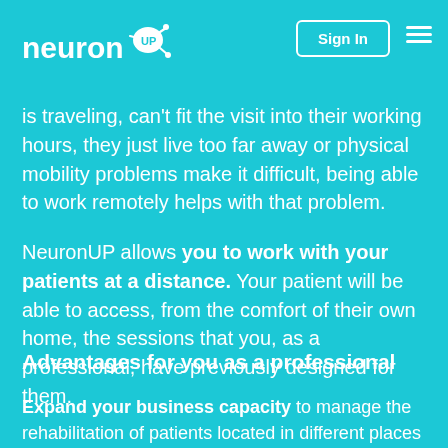NeuronUP — Sign In
is traveling, can't fit the visit into their working hours, they just live too far away or physical mobility problems make it difficult, being able to work remotely helps with that problem.
NeuronUP allows you to work with your patients at a distance. Your patient will be able to access, from the comfort of their own home, the sessions that you, as a professional, have previously designed for them.
Advantages for you as a professional
Expand your business capacity to manage the rehabilitation of patients located in different places in the world.